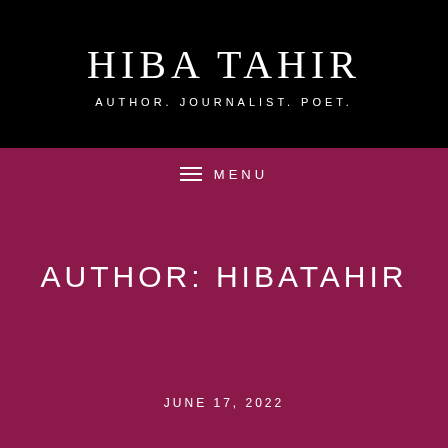HIBA TAHIR
AUTHOR. JOURNALIST. POET.
MENU
AUTHOR: HIBATAHIR
JUNE 17, 2022
An agent, an MFA, an Artists
Follow